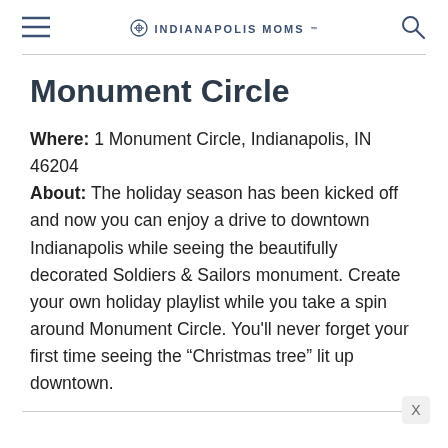INDIANAPOLIS MOMS
Monument Circle
Where: 1 Monument Circle, Indianapolis, IN 46204
About: The holiday season has been kicked off and now you can enjoy a drive to downtown Indianapolis while seeing the beautifully decorated Soldiers & Sailors monument. Create your own holiday playlist while you take a spin around Monument Circle. You'll never forget your first time seeing the “Christmas tree” lit up downtown.